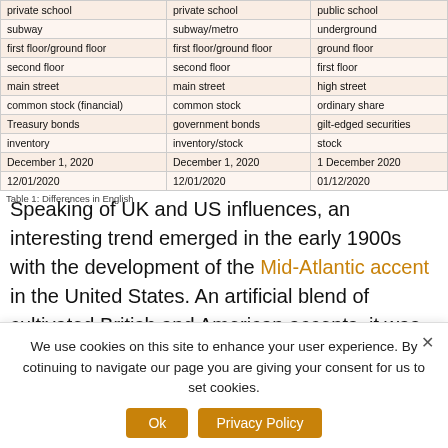|  |  |  |
| --- | --- | --- |
| private school | private school | public school |
| subway | subway/metro | underground |
| first floor/ground floor | first floor/ground floor | ground floor |
| second floor | second floor | first floor |
| main street | main street | high street |
| common stock (financial) | common stock | ordinary share |
| Treasury bonds | government bonds | gilt-edged securities |
| inventory | inventory/stock | stock |
| December 1, 2020 | December 1, 2020 | 1 December 2020 |
| 12/01/2020 | 12/01/2020 | 01/12/2020 |
Table 1: Differences in English
Speaking of UK and US influences, an interesting trend emerged in the early 1900s with the development of the Mid-Atlantic accent in the United States. An artificial blend of cultivated British and American accents, it was taught to upper-class pupils of private schools and was also employed by stage and film actors, most notably Bette Davis and
We use cookies on this site to enhance your user experience. By cotinuing to navigate our page you are giving your consent for us to set cookies.